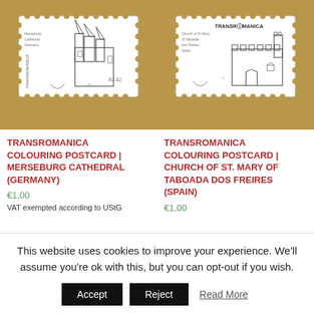[Figure (photo): Photo of a white colouring postcard featuring a line drawing of Merseburg Cathedral, Germany, with TRANSROMANICA branding, placed on a brown textured surface.]
[Figure (photo): Photo of a white colouring postcard featuring a line drawing of the Church of St. Mary of Taboada dos Freires, Spain, with TRANSROMANICA branding, placed on a brown textured surface.]
TRANSROMANICA COLOURING POSTCARD | MERSEBURG CATHEDRAL (GERMANY)
€1,00
VAT exempted according to UStG
TRANSROMANICA COLOURING POSTCARD | CHURCH OF ST. MARY OF TABOADA DOS FREIRES (SPAIN)
€1,00
This website uses cookies to improve your experience. We'll assume you're ok with this, but you can opt-out if you wish.
Accept
Reject
Read More